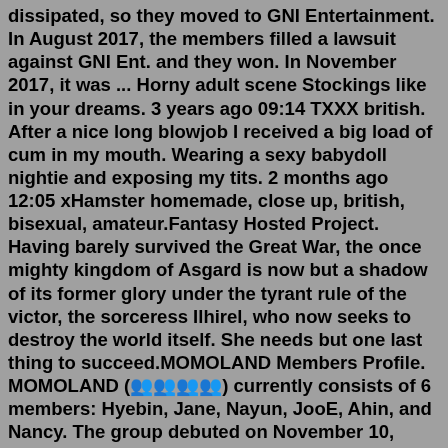dissipated, so they moved to GNI Entertainment. In August 2017, the members filled a lawsuit against GNI Ent. and they won. In November 2017, it was ... Horny adult scene Stockings like in your dreams. 3 years ago 09:14 TXXX british. After a nice long blowjob I received a big load of cum in my mouth. Wearing a sexy babydoll nightie and exposing my tits. 2 months ago 12:05 xHamster homemade, close up, british, bisexual, amateur.Fantasy Hosted Project. Having barely survived the Great War, the once mighty kingdom of Asgard is now but a shadow of its former glory under the tyrant rule of the victor, the sorceress Ilhirel, who now seeks to destroy the world itself. She needs but one last thing to succeed.MOMOLAND Members Profile. MOMOLAND (모모랜드) currently consists of 6 members: Hyebin, Jane, Nayun, JooE, Ahin, and Nancy. The group debuted on November 10, 2016, under MLD Entertainment. On November 29, 2019 it has been announced that Yeonwoo and Taeha left the group. - She was born in Andong, South Korea Master X...